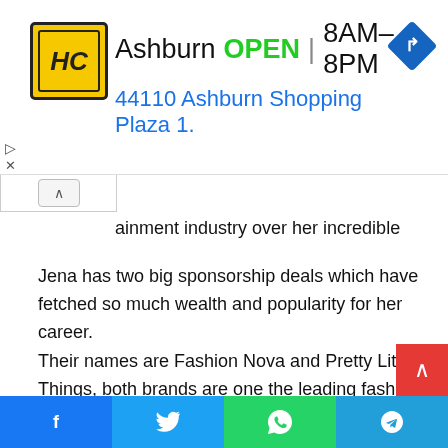[Figure (other): Advertisement banner for Hardees/HC restaurant in Ashburn. Shows HC logo in yellow circle, business name 'Ashburn', status 'OPEN', hours '8AM–8PM', address '44110 Ashburn Shopping Plaza 1.', and a blue navigation/directions diamond icon.]
ainment industry over her incredible work done.
Jena has two big sponsorship deals which have fetched so much wealth and popularity for her career.
Their names are Fashion Nova and Pretty Little Things, both brands are one the leading fashion houses globally.
They are well known all over the world and it isn't just an ordinary brand as they are ranked amongst the best.
She has also worked with several jewelry brands and so mu...